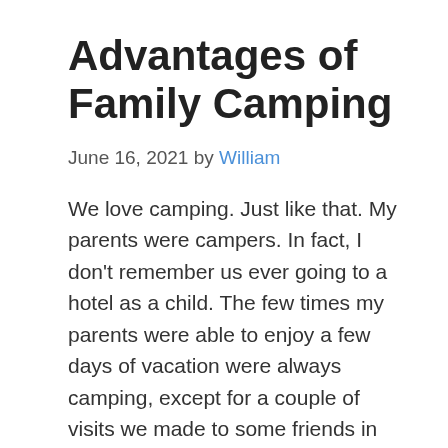Advantages of Family Camping
June 16, 2021 by William
We love camping. Just like that. My parents were campers. In fact, I don’t remember us ever going to a hotel as a child. The few times my parents were able to enjoy a few days of vacation were always camping, except for a couple of visits we made to some friends in Almeria, where we stayed at their house. I remember that at that time you could camp more or less anywhere.
Related Posts: